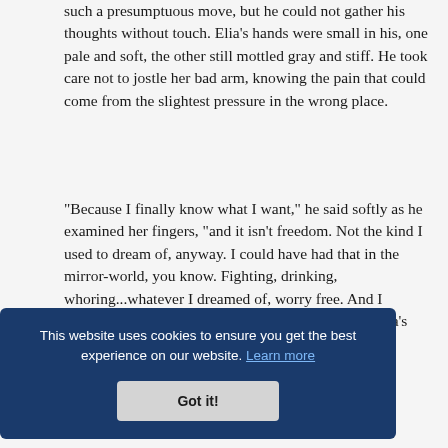such a presumptuous move, but he could not gather his thoughts without touch. Elia's hands were small in his, one pale and soft, the other still mottled gray and stiff. He took care not to jostle her bad arm, knowing the pain that could come from the slightest pressure in the wrong place.
“Because I finally know what I want,” he said softly as he examined her fingers, “and it isn’t freedom. Not the kind I used to dream of, anyway. I could have had that in the mirror-world, you know. Fighting, drinking, whoring...whatever I dreamed of, worry free. And I walked away.” He ran his thumb over the back of Elia’s hand, amazed at the wash of gold that
[Figure (screenshot): Cookie consent banner with dark blue background. Text reads: 'This website uses cookies to ensure you get the best experience on our website. Learn more' with a 'Got it!' button below.]
Tower her true colors. The Aelfinn had given him a